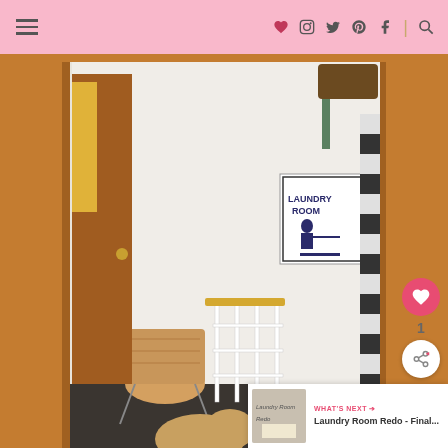Navigation header with hamburger menu and social icons
[Figure (photo): Interior photo of a laundry room viewed through a doorway with wood trim. The room has white walls, a bright window on the left, a 'LAUNDRY ROOM' decorative sign on the right wall, a laundry drying rack and wicker basket on the floor, black and white striped curtain partially visible on far right, and a dog visible at bottom. Brown wooden door frame surrounds the view.]
1
WHAT'S NEXT → Laundry Room Redo - Final...